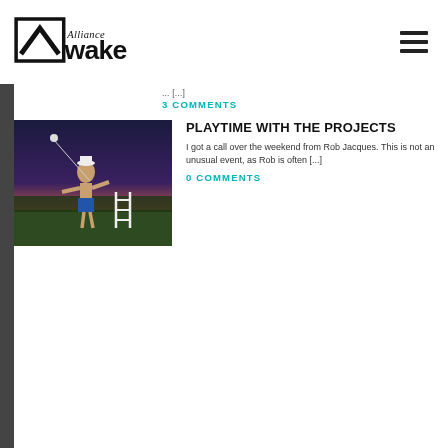[Figure (logo): Alliance Wake logo with stylized house/chevron icon and script text]
... [...]
3 COMMENTS
[Figure (photo): Shirtless man in blue shorts playing ladder ball/bola toss game outdoors at dusk]
PLAYTIME WITH THE PROJECTS
I got a call over the weekend from Rob Jacques. This is not an unusual event, as Rob is often [...]
0 COMMENTS